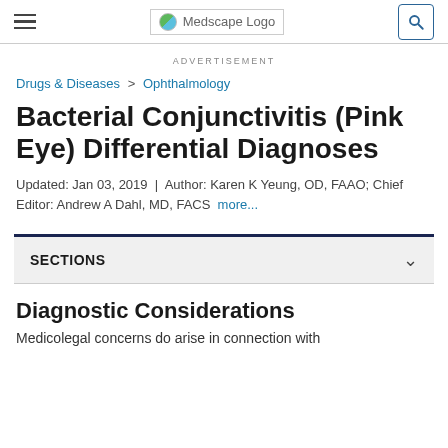Medscape Logo
ADVERTISEMENT
Drugs & Diseases > Ophthalmology
Bacterial Conjunctivitis (Pink Eye) Differential Diagnoses
Updated: Jan 03, 2019  |  Author: Karen K Yeung, OD, FAAO; Chief Editor: Andrew A Dahl, MD, FACS  more...
SECTIONS
Diagnostic Considerations
Medicolegal concerns do arise in connection with